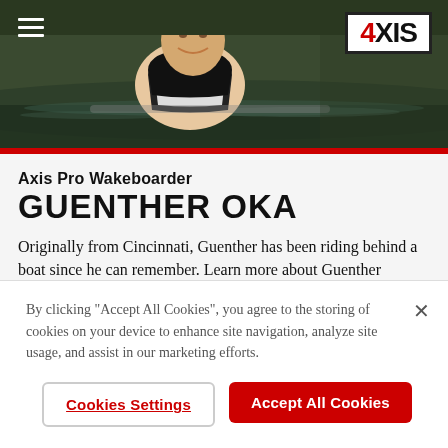[Figure (photo): Header photo of a young man wakeboarding on water with dark green tree background, wearing a black vest. A red horizontal stripe runs below the photo. Hamburger menu icon top-left. 4XIS logo in a box top-right.]
Axis Pro Wakeboarder
GUENTHER OKA
Originally from Cincinnati, Guenther has been riding behind a boat since he can remember. Learn more about Guenther
By clicking "Accept All Cookies", you agree to the storing of cookies on your device to enhance site navigation, analyze site usage, and assist in our marketing efforts.
Cookies Settings
Accept All Cookies